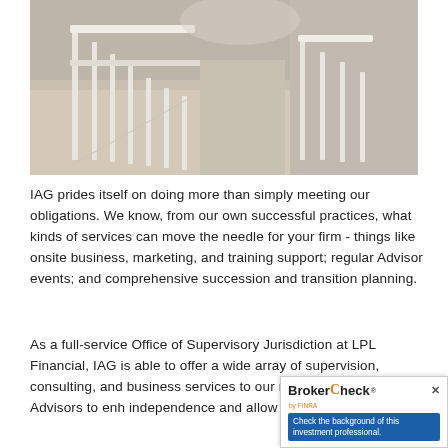[Figure (photo): Interior staircase with white railings and wooden steps, light neutral tones]
IAG prides itself on doing more than simply meeting our obligations. We know, from our own successful practices, what kinds of services can move the needle for your firm - things like onsite business, marketing, and training support; regular Advisor events; and comprehensive succession and transition planning.
As a full-service Office of Supervisory Jurisdiction at LPL Financial, IAG is able to offer a wide array of supervision, consulting, and business services to our network of affiliated Advisors to enhance independence and allow them to focus o...